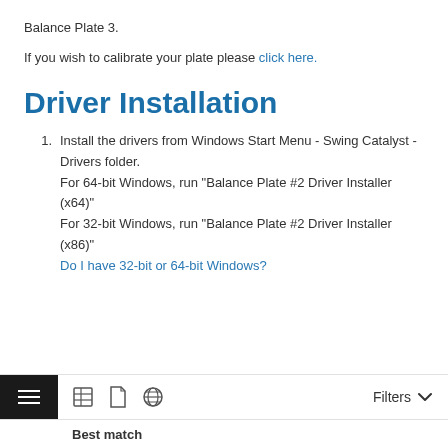Balance Plate 3.
If you wish to calibrate your plate please click here.
Driver Installation
Install the drivers from Windows Start Menu - Swing Catalyst - Drivers folder.
For 64-bit Windows, run "Balance Plate #2 Driver Installer (x64)"
For 32-bit Windows, run "Balance Plate #2 Driver Installer (x86)"
Do I have 32-bit or 64-bit Windows?
Filters | Best match